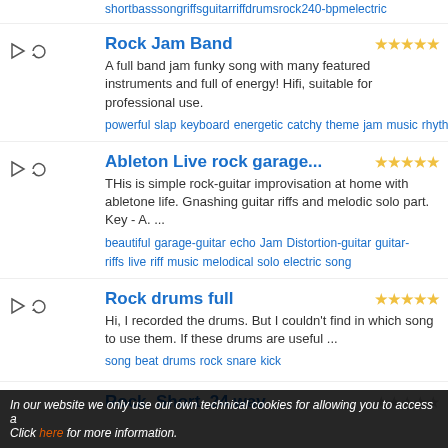short bass song riffs guitar riff drums rock 240-bpm electric
Rock Jam Band
A full band jam funky song with many featured instruments and full of energy! Hifi, suitable for professional use.
powerful slap keyboard energetic catchy theme jam music rhythm party jamming happy solo bass song beat
Ableton Live rock garage...
THis is simple rock-guitar improvisation at home with abletone life. Gnashing guitar riffs and melodic solo part. Key - A. ...
beautiful garage-guitar echo Jam Distortion-guitar guitar-riffs live riff music melodical solo electric song
Rock drums full
Hi, I recorded the drums. But I couldn't find in which song to use them. If these drums are useful ...
song beat drums rock snare kick
Rock  Short  24.wav
In our website we only use our own technical cookies for allowing you to access a Click here for more information.